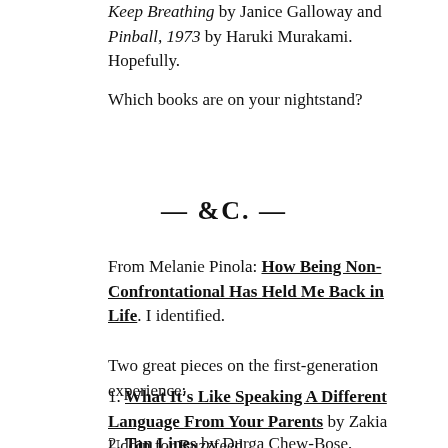Keep Breathing by Janice Galloway and Pinball, 1973 by Haruki Murakami. Hopefully.
Which books are on your nightstand?
— &C. —
From Melanie Pinola: How Being Non-Confrontational Has Held Me Back in Life. I identified.
Two great pieces on the first-generation experience:
1. What It's Like Speaking A Different Language From Your Parents by Zakia Uddin for Buzzfeed
2. Tan Lines by Durga Chew-Bose, published on